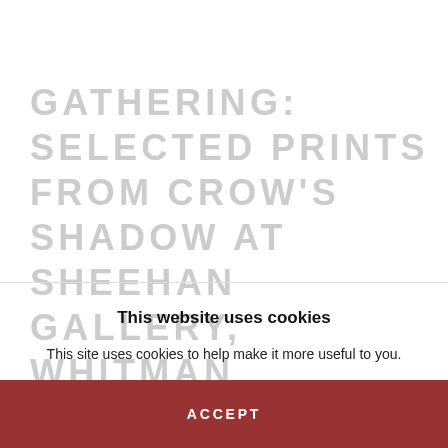GATHERING: SELECTED PRINTS FROM CROW'S SHADOW AT SHEEHAN GALLERY, WHITMAN COLLEGE
This website uses cookies
This site uses cookies to help make it more useful to you.
Please contact us to find out more about our Cookie Policy.
MANAGE COOKIES
ACCEPT